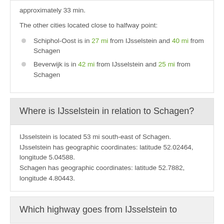approximately 33 min.
The other cities located close to halfway point:
Schiphol-Oost is in 27 mi from IJsselstein and 40 mi from Schagen
Beverwijk is in 42 mi from IJsselstein and 25 mi from Schagen
Where is IJsselstein in relation to Schagen?
IJsselstein is located 53 mi south-east of Schagen.
IJsselstein has geographic coordinates: latitude 52.02464, longitude 5.04588.
Schagen has geographic coordinates: latitude 52.7882, longitude 4.80443.
Which highway goes from IJsselstein to